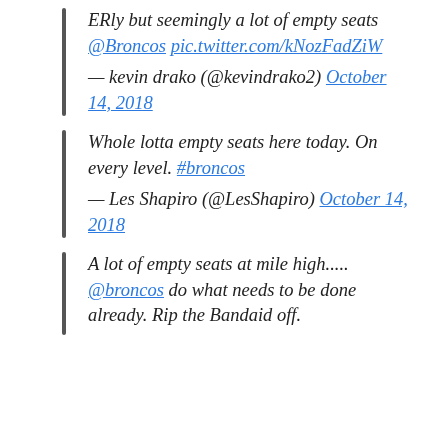ERly but seemingly a lot of empty seats @Broncos pic.twitter.com/kNozFadZiW
— kevin drako (@kevindrako2) October 14, 2018
Whole lotta empty seats here today. On every level. #broncos
— Les Shapiro (@LesShapiro) October 14, 2018
A lot of empty seats at mile high..... @broncos do what needs to be done already. Rip the Bandaid off.